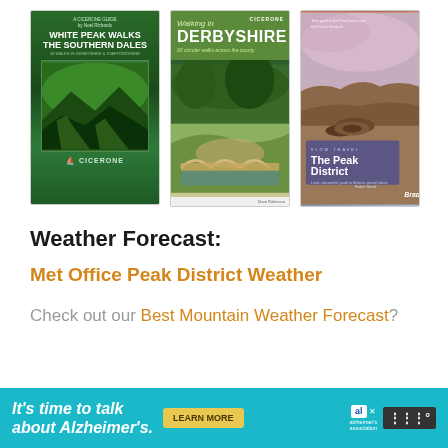[Figure (photo): Three book covers displayed side by side: 'White Peak Walks The Southern Dales' by Cicerone, 'Walking in Derbyshire – 60 circular walks across the county' by Cicerone (Dave Robinson), and 'The Peak District' Slow Travel guide by Bradt (Robin Hood). Each shows scenic landscape photography.]
Weather Forecast:
Met Office Peak District Weather
Check out our Best Mountain Weather Forecast?
[Figure (infographic): Advertisement banner: 'It's time to talk about Alzheimer's.' with a Learn More button, Alzheimer's Association logo, and another logo.]